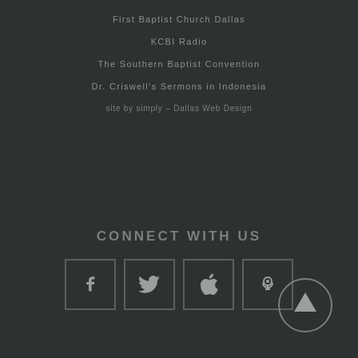First Baptist Church Dallas
KCBI Radio
The Southern Baptist Convention
Dr. Criswell's Sermons in Indonesia
site by simply – Dallas Web Design
CONNECT WITH US
[Figure (infographic): Social media icons in square boxes: Facebook, Twitter, Apple, Podcast, and a circular up-arrow button]